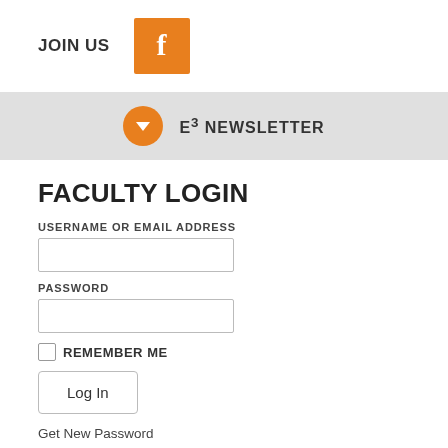JOIN US
[Figure (logo): Orange Facebook icon button with white 'f' letter on orange square background]
[Figure (infographic): Orange circle with white downward arrow icon next to text 'E3 NEWSLETTER' on light grey bar]
FACULTY LOGIN
USERNAME OR EMAIL ADDRESS
PASSWORD
REMEMBER ME
Log In
Get New Password